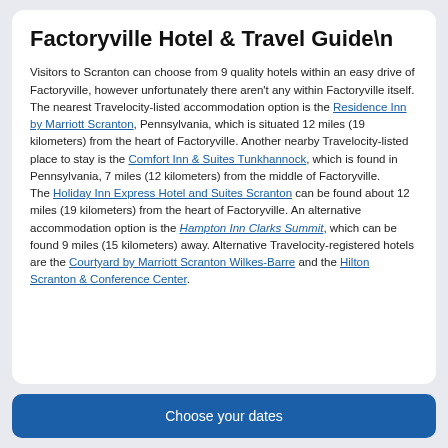Factoryville Hotel & Travel Guide\n
Visitors to Scranton can choose from 9 quality hotels within an easy drive of Factoryville, however unfortunately there aren't any within Factoryville itself.
The nearest Travelocity-listed accommodation option is the Residence Inn by Marriott Scranton, Pennsylvania, which is situated 12 miles (19 kilometers) from the heart of Factoryville. Another nearby Travelocity-listed place to stay is the Comfort Inn & Suites Tunkhannock, which is found in Pennsylvania, 7 miles (12 kilometers) from the middle of Factoryville.
The Holiday Inn Express Hotel and Suites Scranton can be found about 12 miles (19 kilometers) from the heart of Factoryville. An alternative accommodation option is the Hampton Inn Clarks Summit, which can be found 9 miles (15 kilometers) away. Alternative Travelocity-registered hotels are the Courtyard by Marriott Scranton Wilkes-Barre and the Hilton Scranton & Conference Center.
Choose your dates